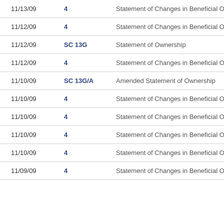| Date | Form | Description |
| --- | --- | --- |
| 11/13/09 | 4 | Statement of Changes in Beneficial Ownership |
| 11/12/09 | 4 | Statement of Changes in Beneficial Ownership |
| 11/12/09 | SC 13G | Statement of Ownership |
| 11/12/09 | 4 | Statement of Changes in Beneficial Ownership |
| 11/10/09 | SC 13G/A | Amended Statement of Ownership |
| 11/10/09 | 4 | Statement of Changes in Beneficial Ownership |
| 11/10/09 | 4 | Statement of Changes in Beneficial Ownership |
| 11/10/09 | 4 | Statement of Changes in Beneficial Ownership |
| 11/10/09 | 4 | Statement of Changes in Beneficial Ownership |
| 11/09/09 | 4 | Statement of Changes in Beneficial Ownership |